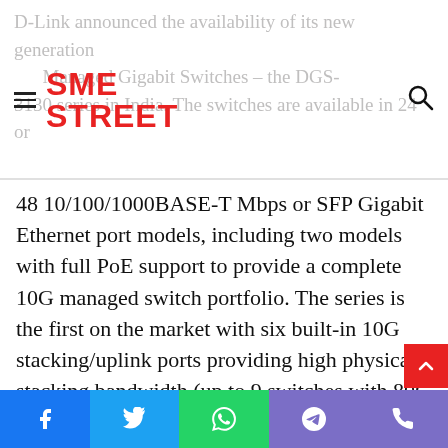SME STREET — D-Link announced the availability of its new generation Managed Gigabit Switches – the DGS-3130 series in India. The switches are available in 24 or 48 10/100/1000BASE-T Mbps or SFP Gigabit Ethernet port models...
48 10/100/1000BASE-T Mbps or SFP Gigabit Ethernet port models, including two models with full PoE support to provide a complete 10G managed switch portfolio. The series is the first on the market with six built-in 10G stacking/uplink ports providing high physical stacking bandwidth (up to 9 switches with 80G bandwidth) and flexibility with a variety of port combinations. Three software images are combined into a single, unified software image to provide powerful Layer 2 and Layer 3 features necessary to fulfill a wide range of different application requirements.
Social share bar: Facebook, Twitter, WhatsApp, Telegram, Phone